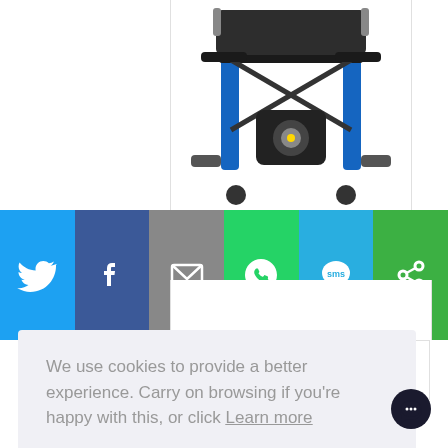[Figure (photo): Top-down view of a blue electric/power wheelchair (U Drive Powerstroll Twin W) with black seat and motor components visible.]
[Figure (infographic): Social media share bar with six buttons: Twitter (blue bird icon), Facebook (blue F icon), Email (grey envelope icon), WhatsApp (green phone icon), SMS (blue SMS bubble icon), and a green share/other icon.]
U Drive Powerstroll Twin W...
We use cookies to provide a better experience. Carry on browsing if you're happy with this, or click Learn more
Got it!